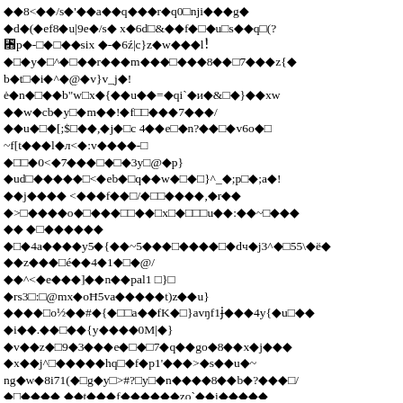Garbled/encoded text content with diamond replacement characters throughout multiple lines of obfuscated or corrupted text data.